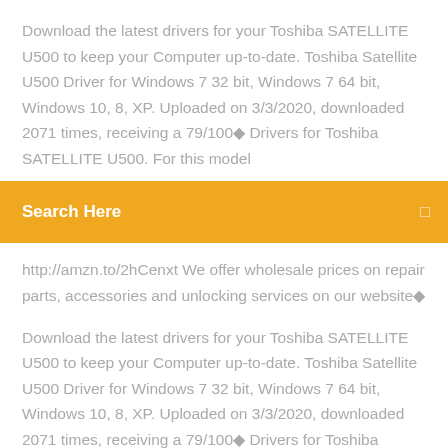Download the latest drivers for your Toshiba SATELLITE U500 to keep your Computer up-to-date. Toshiba Satellite U500 Driver for Windows 7 32 bit, Windows 7 64 bit, Windows 10, 8, XP. Uploaded on 3/3/2020, downloaded 2071 times, receiving a 79/100◆ Drivers for Toshiba SATELLITE U500. For this model
[Figure (other): Orange search bar with text 'Search Here' and a small icon on the right]
http://amzn.to/2hCenxt We offer wholesale prices on repair parts, accessories and unlocking services on our website◆
Download the latest drivers for your Toshiba SATELLITE U500 to keep your Computer up-to-date. Toshiba Satellite U500 Driver for Windows 7 32 bit, Windows 7 64 bit, Windows 10, 8, XP. Uploaded on 3/3/2020, downloaded 2071 times, receiving a 79/100◆ Drivers for Toshiba SATELLITE U500. For this model of laptop we've found 126 devices. Select device for driver's downloading. 3 Apr 2015 Buy the Toshiba Satellite -